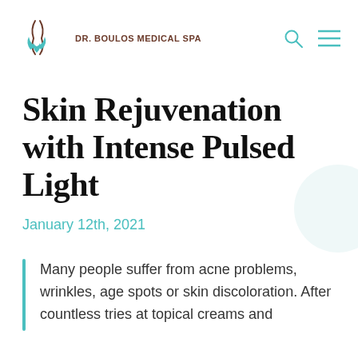DR. BOULOS MEDICAL SPA
Skin Rejuvenation with Intense Pulsed Light
January 12th, 2021
Many people suffer from acne problems, wrinkles, age spots or skin discoloration. After countless tries at topical creams and